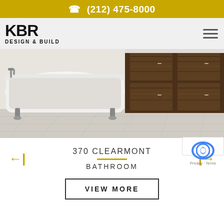(212) 475-8000
[Figure (logo): KBR Design & Build logo with hamburger menu]
[Figure (photo): Bathroom interior showing a white clawfoot bathtub on the left and dark wood cabinetry on the right, with light marble tile flooring]
370 CLEARMONT
BATHROOM
VIEW MORE